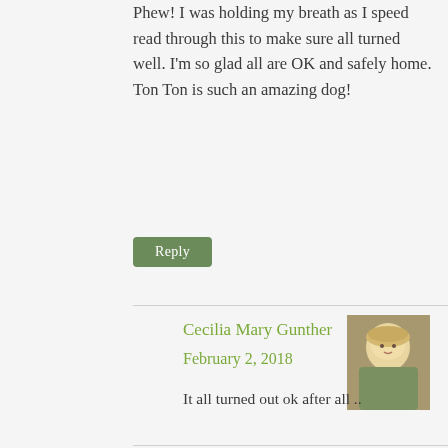Phew! I was holding my breath as I speed read through this to make sure all turned well. I'm so glad all are OK and safely home. Ton Ton is such an amazing dog!
Reply
Cecilia Mary Gunther
February 2, 2018
[Figure (photo): Profile photo of Cecilia Mary Gunther - blonde woman smiling]
It all turned out ok after all ..
Reply
Gerlinde
February 2, 2018
[Figure (photo): Profile photo of Gerlinde - woman with sunglasses outdoors]
I am shivering just thinking of your walk in the cold. That poor little piggy. California is having